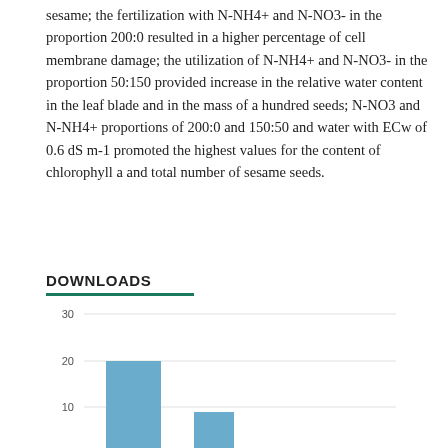sesame; the fertilization with N-NH4+ and N-NO3- in the proportion 200:0 resulted in a higher percentage of cell membrane damage; the utilization of N-NH4+ and N-NO3- in the proportion 50:150 provided increase in the relative water content in the leaf blade and in the mass of a hundred seeds; N-NO3 and N-NH4+ proportions of 200:0 and 150:50 and water with ECw of 0.6 dS m-1 promoted the highest values for the content of chlorophyll a and total number of sesame seeds.
DOWNLOADS
[Figure (bar-chart): Downloads]